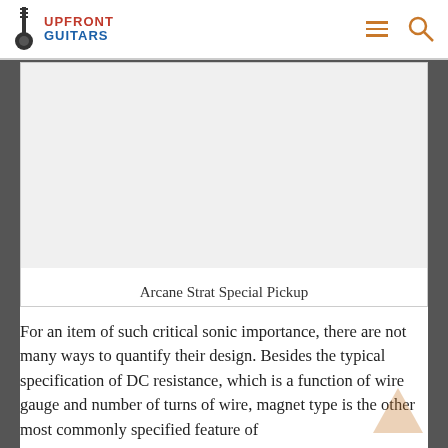Upfront Guitars
[Figure (photo): Arcane Strat Special Pickup product image (white/light background)]
Arcane Strat Special Pickup
For an item of such critical sonic importance, there are not many ways to quantify their design. Besides the typical specification of DC resistance, which is a function of wire gauge and number of turns of wire, magnet type is the other most commonly specified feature of